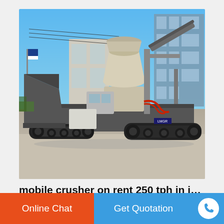[Figure (photo): Mobile crusher machine on tracks parked outdoors, with a large cone crusher unit mounted on a tracked chassis, conveyor belt extended, and a multi-story building in the background under a clear blue sky.]
mobile crusher on rent 250 tph in india - l...
mobile crusher on rent 250 tph india 250 Tph...
Online Chat
Get Quotation